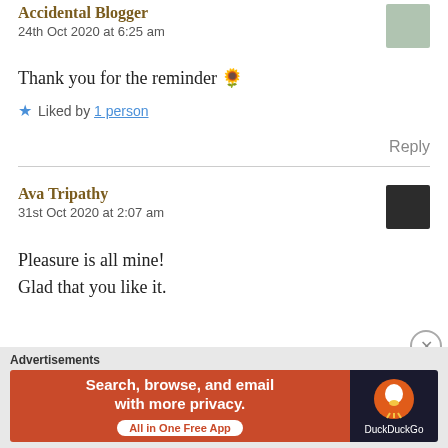Accidental Blogger
24th Oct 2020 at 6:25 am
Thank you for the reminder 🌻
Liked by 1 person
Reply
Ava Tripathy
31st Oct 2020 at 2:07 am
Pleasure is all mine!
Glad that you like it.
Advertisements
[Figure (screenshot): DuckDuckGo advertisement banner: 'Search, browse, and email with more privacy. All in One Free App' with DuckDuckGo logo]